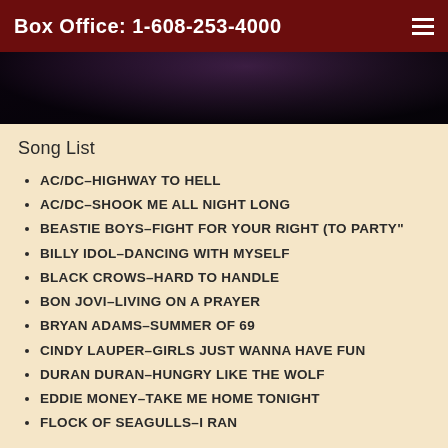Box Office: 1-608-253-4000
[Figure (photo): Dark stage/performance photo with purple/dark tones]
Song List
AC/DC–HIGHWAY TO HELL
AC/DC–SHOOK ME ALL NIGHT LONG
BEASTIE BOYS–FIGHT FOR YOUR RIGHT (TO PARTY"
BILLY IDOL–DANCING WITH MYSELF
BLACK CROWS–HARD TO HANDLE
BON JOVI–LIVING ON A PRAYER
BRYAN ADAMS–SUMMER OF 69
CINDY LAUPER–GIRLS JUST WANNA HAVE FUN
DURAN DURAN–HUNGRY LIKE THE WOLF
EDDIE MONEY–TAKE ME HOME TONIGHT
FLOCK OF SEAGULLS–I RAN